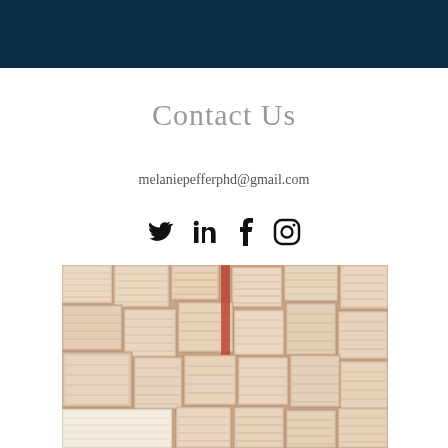Contact Us
melaniepefferphd@gmail.com
[Figure (infographic): Social media icons: Twitter bird, LinkedIn 'in', Facebook 'f', Instagram camera circle]
[Figure (photo): A wall of open books spread flat showing their pages, viewed from above, creating a collage-like pattern of beige book pages.]